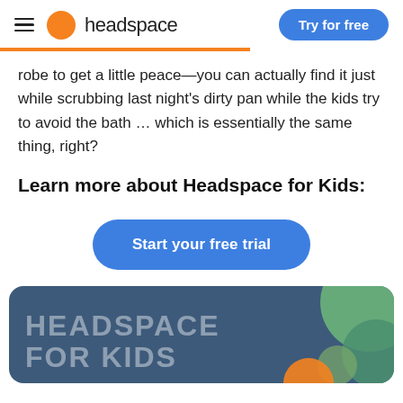headspace | Try for free
robe to get a little peace—you can actually find it just while scrubbing last night's dirty pan while the kids try to avoid the bath … which is essentially the same thing, right?
Learn more about Headspace for Kids:
[Figure (other): Blue rounded-rectangle button labeled 'Start your free trial']
[Figure (other): Promotional card with dark blue/teal background showing 'HEADSPACE FOR KIDS' text in large light letters with decorative circles in green, teal, and orange on the right side]